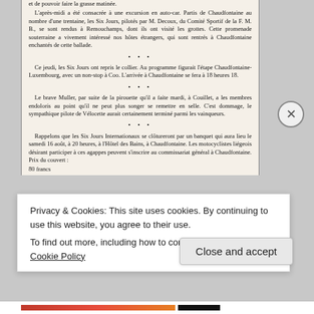et de pouvoir faire la grasse matinée. L'après-midi a été consacrée à une excursion en auto-car. Partis de Chaudfontaine au nombre d'une trentaine, les Six Jours, pilotés par M. Decoux, du Comité Sportif de la F. M. B., se sont rendus à Remouchamps, dont ils ont visité les grottes. Cette promenade souterraine a vivement intéressé nos hôtes étrangers, qui sont rentrés à Chaudfontaine enchantés de cette ballade.
Ce jeudi, les Six Jours ont repris le collier. Au programme figurait l'étape Chaudfontaine-Luxembourg, avec un non-stop à Coo. L'arrivée à Chaudfontaine se fera à 18 heures 18.
Le brave Muller, par suite de la pirouette qu'il a faite mardi, à Couillet, a les membres endoloris au point qu'il ne peut plus songer se remettre en selle. C'est dommage, le sympathique pilote de Vélocette aurait certainement terminé parmi les vainqueurs.
Rappelons que les Six Jours Internationaux se clôtureront par un banquet qui aura lieu le samedi 16 août, à 20 heures, à l'Hôtel des Bains, à Chaudfontaine. Les motocyclistes liégeois désirant participer à ces agappes peuvent s'inscrire au commissariat général à Chaudfontaine. Prix du couvert : 80 francs
Privacy & Cookies: This site uses cookies. By continuing to use this website, you agree to their use.
To find out more, including how to control cookies, see here: Cookie Policy
Close and accept